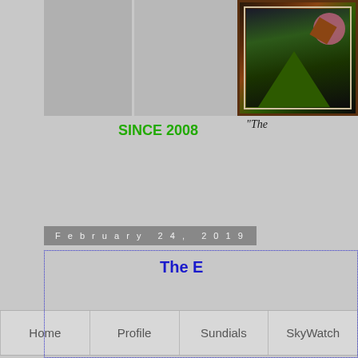[Figure (photo): Partial view of a framed painting showing geometric shapes with green triangles, pink/brown tones on dark background with an ornate dark frame]
"The
SINCE 2008
[Figure (screenshot): Navigation bar with menu items: Home, Profile, Sundials, SkyWatch]
February 24, 2019
The E
[Figure (photo): Partial view of a painting showing landscape or figurative scene with warm and cool tones, ornate golden frame element visible]